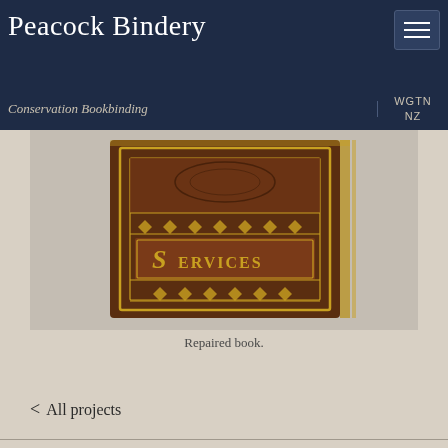Peacock Bindery
Conservation Bookbinding | WGTN NZ
[Figure (photo): Close-up photograph of a repaired antique book with ornate gold-tooled leather cover showing decorative patterns and the word SERVICES embossed on the spine area]
Repaired book.
< All projects